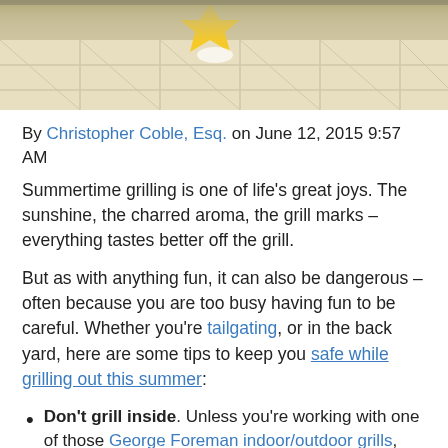[Figure (photo): Photo of a tiled floor with a yellow object visible at the top, partial view of a mop or cleaning tool on light beige tiles]
By Christopher Coble, Esq. on June 12, 2015 9:57 AM
Summertime grilling is one of life's great joys. The sunshine, the charred aroma, the grill marks – everything tastes better off the grill.
But as with anything fun, it can also be dangerous – often because you are too busy having fun to be careful. Whether you're tailgating, or in the back yard, here are some tips to keep you safe while grilling out this summer:
Don't grill inside. Unless you're working with one of those George Foreman indoor/outdoor grills, you need to be outside, preferably a safe distance from the house. Aside from the obvious fire risks, smoke inhalation is the leading cause of fire-related death.